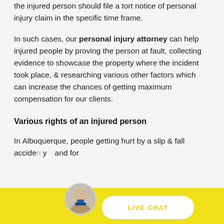the injured person should file a tort notice of personal injury claim in the specific time frame.
In such cases, our personal injury attorney can help injured people by proving the person at fault, collecting evidence to showcase the property where the incident took place, & researching various other factors which can increase the chances of getting maximum compensation for our clients.
Various rights of an injured person
In Albuquerque, people getting hurt by a slip & fall accide... y... and for